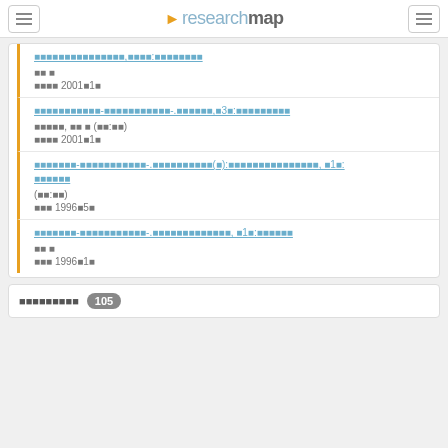researchmap
[link] 単著 発行年月 2001年1月
[link] 共著者, 単 著 (担当:著) 発行年月 2001年1月
[link] (担当:著) 発行年月 1996年5月
[link] 単 著 発行年月 1996年1月
書籍等出版物 105